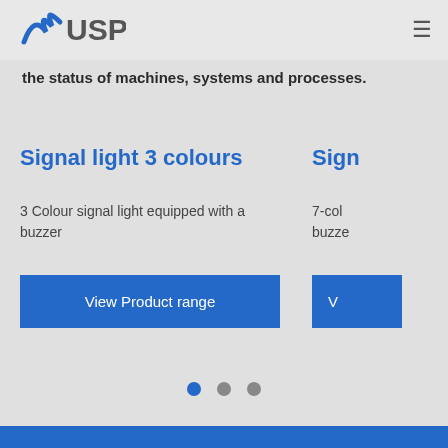USP logo and navigation
the status of machines, systems and processes.
Signal light 3 colours
3 Colour signal light equipped with a buzzer
View Product range
Sign...
7-col... buzze...
V...